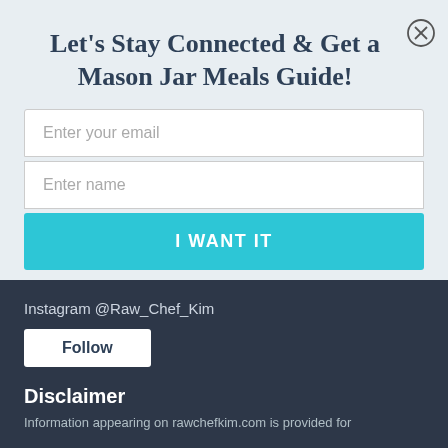Let's Stay Connected & Get a Mason Jar Meals Guide!
Enter your email
Enter name
I WANT IT
Instagram @Raw_Chef_Kim
Follow
Disclaimer
Information appearing on rawchefkim.com is provided for